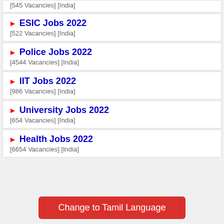[545 Vacancies] [India]
► ESIC Jobs 2022
[522 Vacancies] [India]
► Police Jobs 2022
[4544 Vacancies] [India]
► IIT Jobs 2022
[986 Vacancies] [India]
► University Jobs 2022
[654 Vacancies] [India]
► Health Jobs 2022
[6654 Vacancies] [India]
Change to Tamil Language